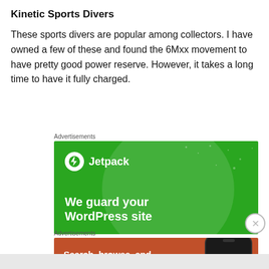Kinetic Sports Divers
These sports divers are popular among collectors. I have owned a few of these and found the 6Mxx movement to have pretty good power reserve. However, it takes a long time to have it fully charged.
Advertisements
[Figure (illustration): Jetpack advertisement banner on green background with logo and text 'We guard your WordPress site']
Advertisements
[Figure (illustration): DuckDuckGo advertisement banner on orange-red background with phone mockup and text 'Search, browse, and email with more privacy. All in One Free App']